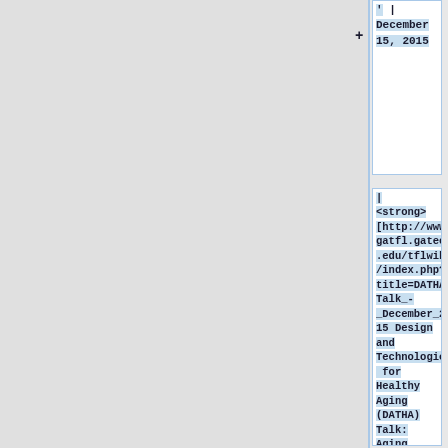' | December 15, 2015
| <strong>[http://www.gatfl.gatech.edu/tflwiki/index.php?title=DATHA_Talk_-_December_2015 Design and Technologies for Healthy Aging (DATHA) Talk: Aging in Place]</strong> </strong>